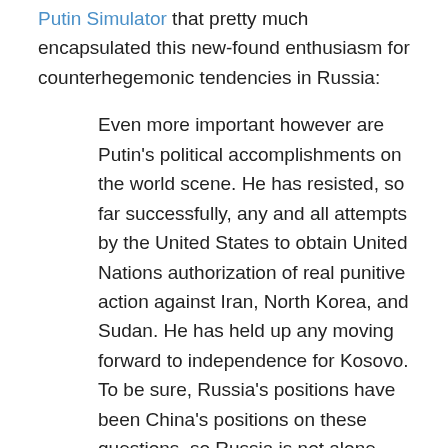Putin Simulator that pretty much encapsulated this new-found enthusiasm for counterhegemonic tendencies in Russia:
Even more important however are Putin's political accomplishments on the world scene. He has resisted, so far successfully, any and all attempts by the United States to obtain United Nations authorization of real punitive action against Iran, North Korea, and Sudan. He has held up any moving forward to independence for Kosovo. To be sure, Russia's positions have been China's positions on these questions, so Russia is not alone. But in the 1990s, such strong and so far effective Russian political stands were not thinkable.
Then there are Russia's dealings with Europe. He has opposed United States plans to install antimissile